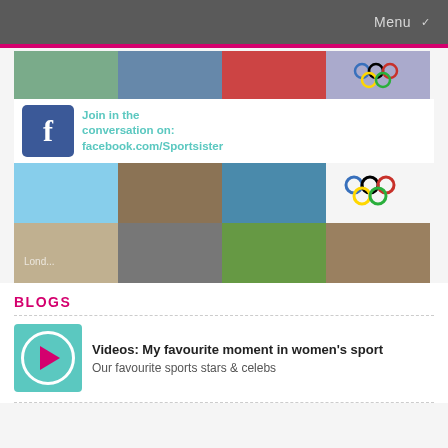Menu
[Figure (photo): Sports photo collage with Facebook 'Join in the conversation on: facebook.com/Sportsister' overlay banner. Multiple sports images: athletes, Olympics rings, running, water sports, football, cycling.]
BLOGS
[Figure (photo): Teal thumbnail with pink play button circle icon]
Videos: My favourite moment in women's sport
Our favourite sports stars & celebs